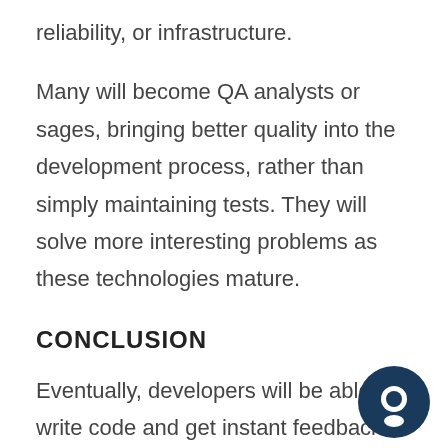reliability, or infrastructure.
Many will become QA analysts or sages, bringing better quality into the development process, rather than simply maintaining tests. They will solve more interesting problems as these technologies mature.
CONCLUSION
Eventually, developers will be able to write code and get instant feedback on likely